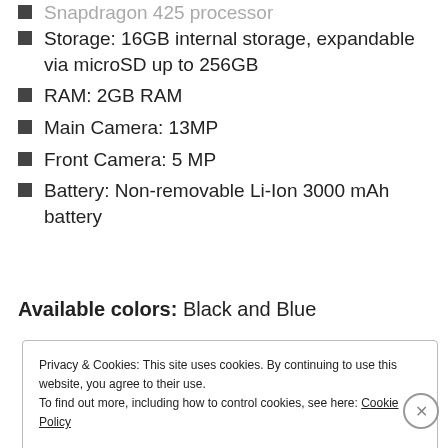Snapdragon 425 processor
Storage: 16GB internal storage, expandable via microSD up to 256GB
RAM: 2GB RAM
Main Camera: 13MP
Front Camera: 5 MP
Battery: Non-removable Li-Ion 3000 mAh battery
Available colors: Black and Blue
Privacy & Cookies: This site uses cookies. By continuing to use this website, you agree to their use. To find out more, including how to control cookies, see here: Cookie Policy